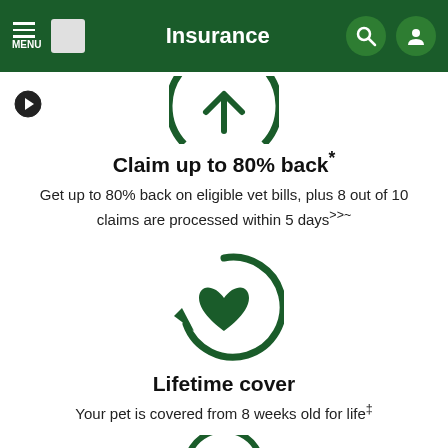Insurance
[Figure (illustration): Partial green circle icon with upward arrow (dollar sign / claim icon), cropped at top]
Claim up to 80% back*
Get up to 80% back on eligible vet bills, plus 8 out of 10 claims are processed within 5 days>>~
[Figure (illustration): Green circular arrow icon with a heart in the center — representing lifetime cover]
Lifetime cover
Your pet is covered from 8 weeks old for life‡
[Figure (illustration): Partial green icon at bottom of page, cropped — appears to be a pet/paw icon]